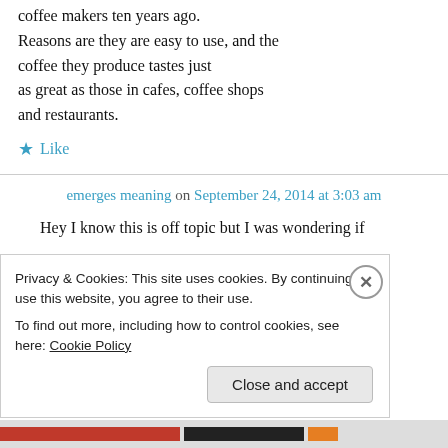coffee makers ten years ago. Reasons are they are easy to use, and the coffee they produce tastes just as great as those in cafes, coffee shops and restaurants.
★ Like
emerges meaning on September 24, 2014 at 3:03 am
Hey I know this is off topic but I was wondering if
Privacy & Cookies: This site uses cookies. By continuing to use this website, you agree to their use. To find out more, including how to control cookies, see here: Cookie Policy
Close and accept